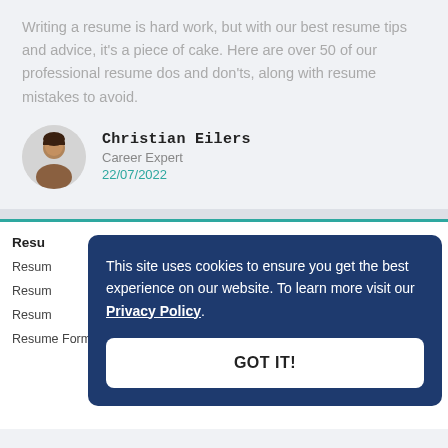Writing a resume is hard work, but with our best resume tips and advice, it's a piece of cake. Here are over 50 of our professional resume dos and don'ts, along with resume mistakes to avoid.
Christian Eilers
Career Expert
22/07/2022
This site uses cookies to ensure you get the best experience on our website. To learn more visit our Privacy Policy.
GOT IT!
Resu
Resum
Resum
Resum
Resume Format